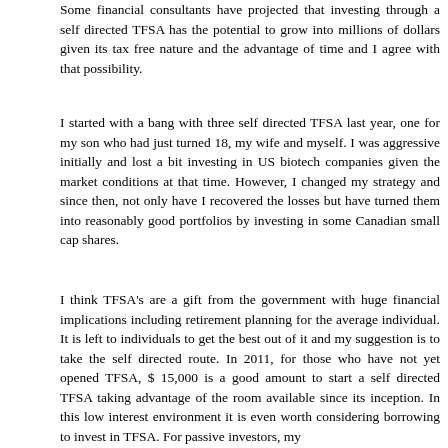Some financial consultants have projected that investing through a self directed TFSA has the potential to grow into millions of dollars given its tax free nature and the advantage of time and I agree with that possibility.
I started with a bang with three self directed TFSA last year, one for my son who had just turned 18, my wife and myself. I was aggressive initially and lost a bit investing in US biotech companies given the market conditions at that time. However, I changed my strategy and since then, not only have I recovered the losses but have turned them into reasonably good portfolios by investing in some Canadian small cap shares.
I think TFSA's are a gift from the government with huge financial implications including retirement planning for the average individual. It is left to individuals to get the best out of it and my suggestion is to take the self directed route. In 2011, for those who have not yet opened TFSA, $ 15,000 is a good amount to start a self directed TFSA taking advantage of the room available since its inception. In this low interest environment it is even worth considering borrowing to invest in TFSA. For passive investors, my